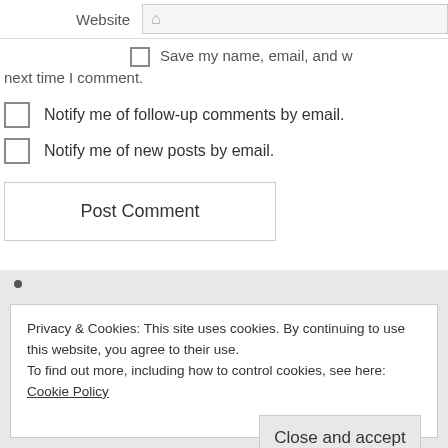Website
Save my name, email, and w next time I comment.
Notify me of follow-up comments by email.
Notify me of new posts by email.
Post Comment
Privacy & Cookies: This site uses cookies. By continuing to use this website, you agree to their use.
To find out more, including how to control cookies, see here: Cookie Policy
Close and accept